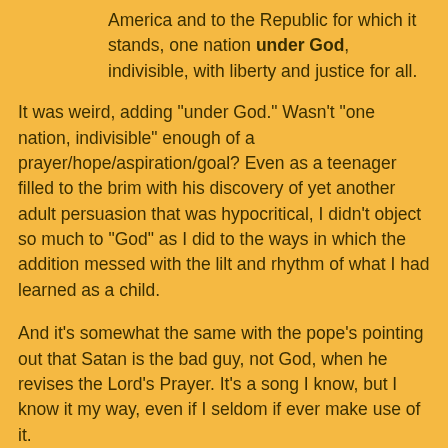America and to the Republic for which it stands, one nation under God, indivisible, with liberty and justice for all.
It was weird, adding "under God." Wasn't "one nation, indivisible" enough of a prayer/hope/aspiration/goal? Even as a teenager filled to the brim with his discovery of yet another adult persuasion that was hypocritical, I didn't object so much to "God" as I did to the ways in which the addition messed with the lilt and rhythm of what I had learned as a child.
And it's somewhat the same with the pope's pointing out that Satan is the bad guy, not God, when he revises the Lord's Prayer. It's a song I know, but I know it my way, even if I seldom if ever make use of it.
But nowadays, I'm tickled at my own insistence. Here I am basting a hypothetical turkey and the pope is messing with one of my small foundational rocks in ways that show off how distant we are from what we consider the important things in life.